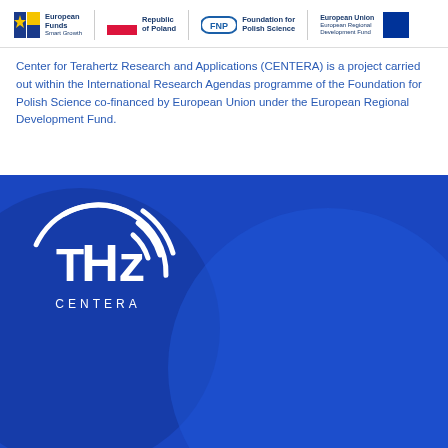[Figure (logo): Row of institutional logos: European Funds Smart Growth, Republic of Poland flag, FNP Foundation for Polish Science, European Union European Regional Development Fund with EU stars]
Center for Terahertz Research and Applications (CENTERA) is a project carried out within the International Research Agendas programme of the Foundation for Polish Science co-financed by European Union under the European Regional Development Fund.
[Figure (logo): THz CENTERA logo — white circular arcs with THz text and CENTERA label below, on a blue background with decorative blue arcs]